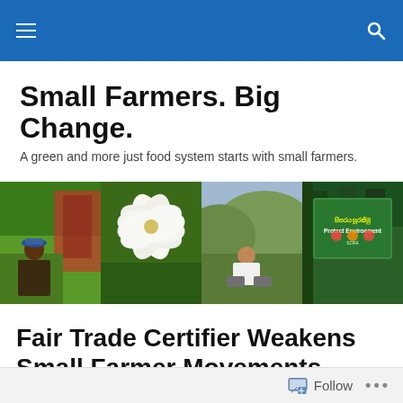Navigation bar with menu and search icons
Small Farmers. Big Change.
A green and more just food system starts with small farmers.
[Figure (photo): Four photos in a horizontal strip: (1) farmer smiling in a lush green farm with red plants, (2) white flowers close-up on green background, (3) person working in hilly green landscape, (4) sign reading 'Protect Environment' with Sinhala text]
Fair Trade Certifier Weakens Small Farmer Movements
Follow   •••